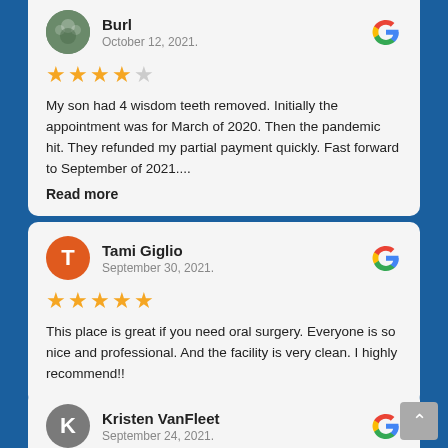Burl
October 12, 2021.
★★★★☆
My son had 4 wisdom teeth removed. Initially the appointment was for March of 2020. Then the pandemic hit. They refunded my partial payment quickly. Fast forward to September of 2021....
Read more
Tami Giglio
September 30, 2021.
★★★★★
This place is great if you need oral surgery. Everyone is so nice and professional. And the facility is very clean. I highly recommend!!
Kristen VanFleet
September 24, 2021.